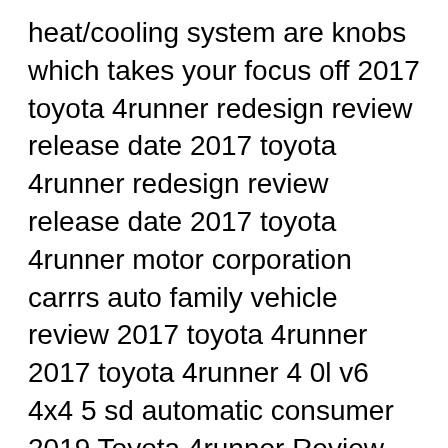heat/cooling system are knobs which takes your focus off 2017 toyota 4runner redesign review release date 2017 toyota 4runner redesign review release date 2017 toyota 4runner motor corporation carrrs auto family vehicle review 2017 toyota 4runner 2017 toyota 4runner 4 0l v6 4x4 5 sd automatic consumer 2019 Toyota 4runner Review Pricing And Specs2017 Toyota 4runner New Car Review Autotrader2017 Toyota 4runner Trd Pro Read More B»
Consumer Reviews Verified Owner Reviews. Reviews from owners of the 2017 Toyota 4Runner. C.S. Sep 03, 2017 10,200 Owned 5 months 5 out of 5 stars